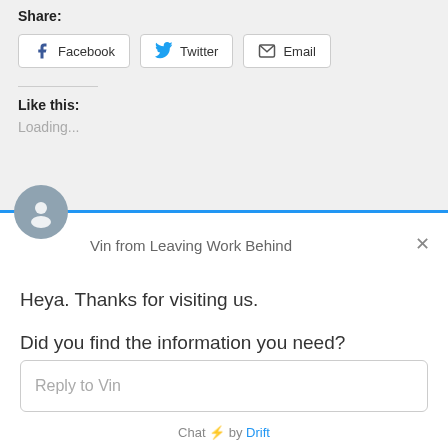Share:
[Figure (screenshot): Share buttons: Facebook, Twitter, Email]
Like this:
Loading...
[Figure (screenshot): Drift chat widget with avatar of Vin from Leaving Work Behind. Header with blue top border, close button (X). Messages: 'Heya. Thanks for visiting us.', 'Did you find the information you need?', 'How can we help? We're here for you!' Reply input box with placeholder 'Reply to Vin'. Footer: 'Chat ⚡ by Drift']